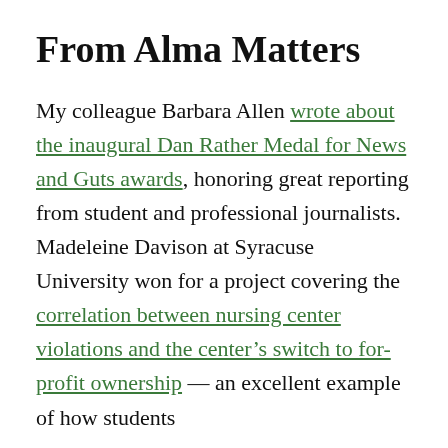From Alma Matters
My colleague Barbara Allen wrote about the inaugural Dan Rather Medal for News and Guts awards, honoring great reporting from student and professional journalists. Madeleine Davison at Syracuse University won for a project covering the correlation between nursing center violations and the center’s switch to for-profit ownership — an excellent example of how students